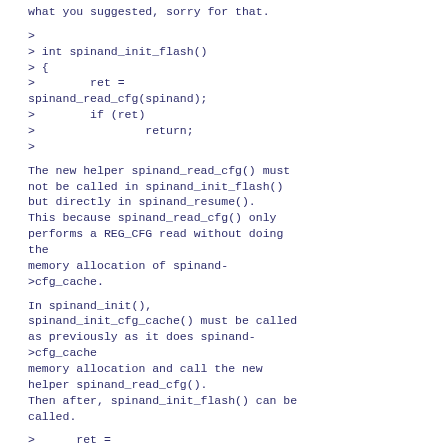what you suggested, sorry for that.
>
> int spinand_init_flash()
> {
>        ret =
spinand_read_cfg(spinand);
>        if (ret)
>                return;
>
The new helper spinand_read_cfg() must not be called in spinand_init_flash() but directly in spinand_resume(). This because spinand_read_cfg() only performs a REG_CFG read without doing the memory allocation of spinand->cfg_cache.
In spinand_init(), spinand_init_cfg_cache() must be called as previously as it does spinand->cfg_cache memory allocation and call the new helper spinand_read_cfg(). Then after, spinand_init_flash() can be called.
>       ret =